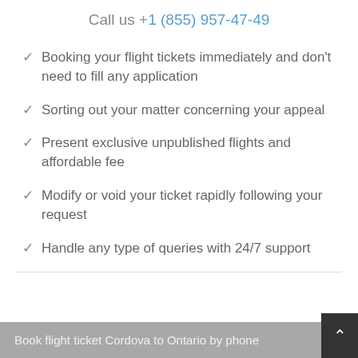Call us +1 (855) 957-47-49
Booking your flight tickets immediately and don't need to fill any application
Sorting out your matter concerning your appeal
Present exclusive unpublished flights and affordable fee
Modify or void your ticket rapidly following your request
Handle any type of queries with 24/7 support
Book flight ticket Cordova to Ontario by phone